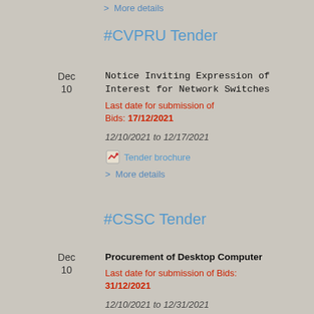> More details
#CVPRU Tender
Dec 10 — Notice Inviting Expression of Interest for Network Switches
Last date for submission of Bids: 17/12/2021
12/10/2021 to 12/17/2021
Tender brochure
> More details
#CSSC Tender
Dec 10 — Procurement of Desktop Computer
Last date for submission of Bids: 31/12/2021
12/10/2021 to 12/31/2021
Tender brochure